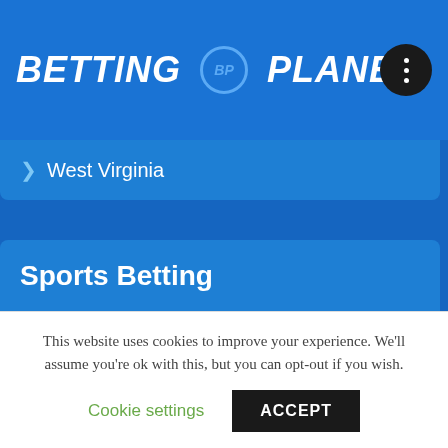BETTING BP PLANET
> West Virginia
Sports Betting
> Olympics 2021
> Free bets
> NFL
> NBA
> World T20
> Esports
This website uses cookies to improve your experience. We'll assume you're ok with this, but you can opt-out if you wish.
Cookie settings  ACCEPT